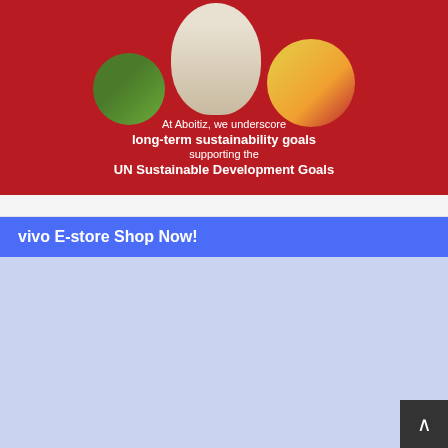[Figure (photo): Red Aboitiz banner with three circular photos (nature/green, white robot, group of children) and white text about sustainability goals]
At Aboitiz, we underscore long-term sustainability goals supporting the UN Sustainable Development Goals
vivo E-store Shop Now!
[Figure (photo): Vivo X80 Series 5G smartphone advertisement card showing vivo logo, X80 Series 5G branding, ZEISS Professional Imaging text, and three smartphones (black, teal, and white/silver) on white card background with light blue page background]